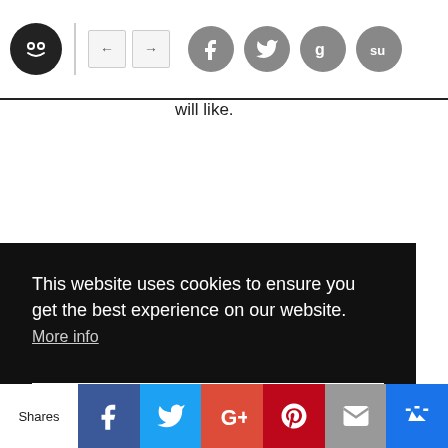Navigation header with logo, arrows, and social icons (Facebook, Twitter, Google+, StumbleUpon)
will like.
This website uses cookies to ensure you get the best experience on our website. More info
Got it!
Shares | Facebook | Twitter | Google+ | Pinterest | Email | Crown